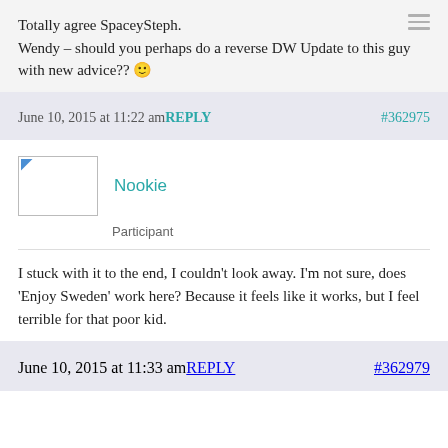Totally agree SpaceySteph.

Wendy – should you perhaps do a reverse DW Update to this guy with new advice?? 🙂
June 10, 2015 at 11:22 am REPLY   #362975
Nookie
Participant
I stuck with it to the end, I couldn't look away. I'm not sure, does 'Enjoy Sweden' work here? Because it feels like it works, but I feel terrible for that poor kid.
June 10, 2015 at 11:33 am REPLY   #362979